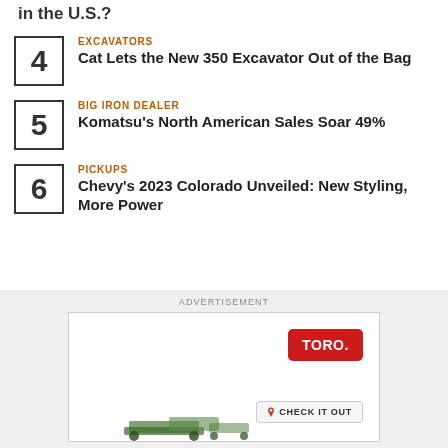in the U.S.?
EXCAVATORS
Cat Lets the New 350 Excavator Out of the Bag
BIG IRON DEALER
Komatsu's North American Sales Soar 49%
PICKUPS
Chevy's 2023 Colorado Unveiled: New Styling, More Power
ADVERTISEMENT
[Figure (illustration): TORO advertisement with logo and CHECK IT OUT button, showing outdoor equipment at bottom]